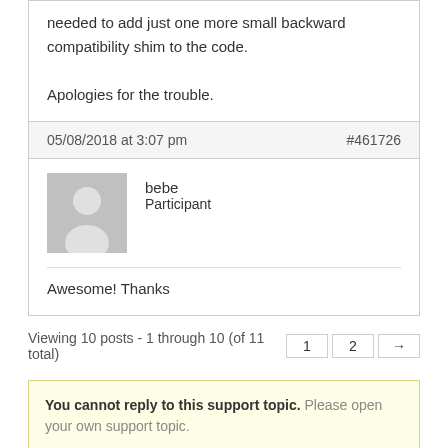needed to add just one more small backward compatibility shim to the code.

Apologies for the trouble.
05/08/2018 at 3:07 pm   #461726
[Figure (illustration): Grey placeholder avatar icon of a person silhouette]
bebe
Participant
Awesome! Thanks
Viewing 10 posts - 1 through 10 (of 11 total)
You cannot reply to this support topic. Please open your own support topic.